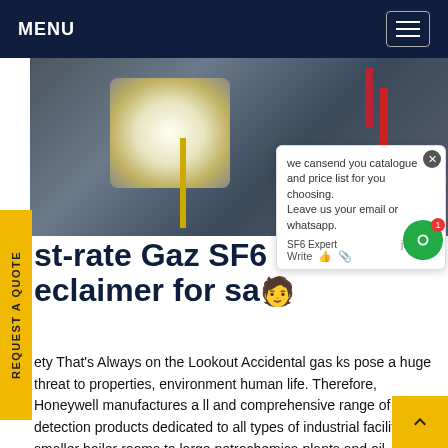MENU
[Figure (photo): Industrial equipment photo showing interior of electrical/gas panel with wiring, cables, and bright light visible]
st-rate Gaz SF6 eclaimer for sa...
ety That's Always on the Lookout Accidental gas ks pose a huge threat to properties, environment human life. Therefore, Honeywell manufactures a ll and comprehensive range of gas detection products dedicated to all types of industrial facili... from smaller boiler rooms to large petrochemi... plants and oil refineries.Honeywell's wide range of